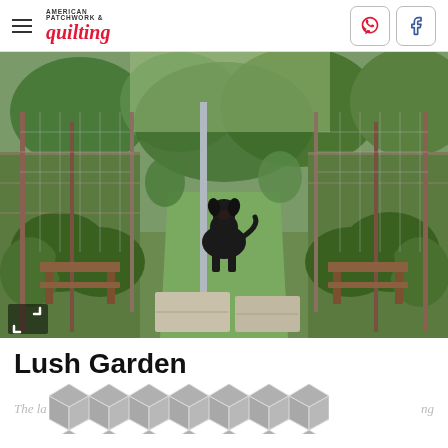American Patchwork & Quilting
[Figure (photo): A black Labrador dog walks along a grass path between vegetable garden beds enclosed with wire fencing and metal poles. Rustic metal benches are on either side. Flat stone pavers are in the foreground. Lush green plants visible.]
Lush Garden
The la...